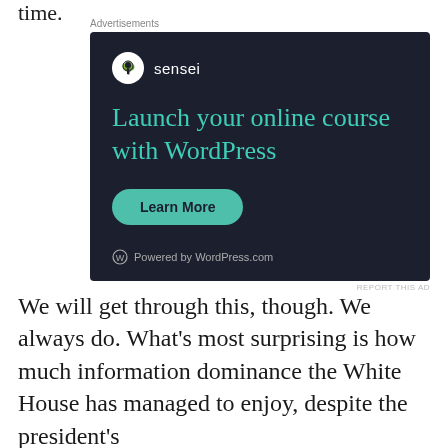time.
[Figure (screenshot): Advertisement for Sensei plugin - 'Launch your online course with WordPress' with a Learn More button and 'Powered by WordPress.com' footer on dark background]
We will get through this, though. We always do. What’s most surprising is how much information dominance the White House has managed to enjoy, despite the president’s